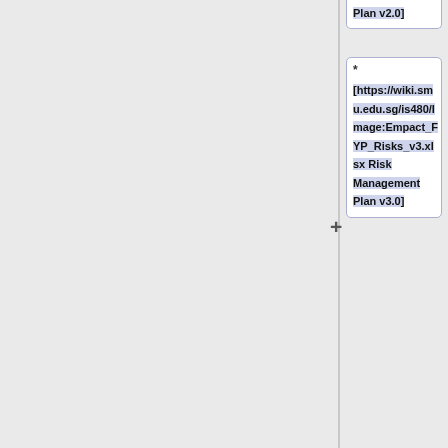[https://wiki.smu.edu.sg/is480/mage:Empact_FYP_Risks_v2.xlsx Risk Management Plan v2.0]
* [https://wiki.smu.edu.sg/is480/Image:Empact_FYP_Risks_v3.xlsx Risk Management Plan v3.0]
* [https://wiki.smu.edu.sg/is480/Image:Empact_FYP_Risks_v4.xlsx Risk Management Plan v4.0]
* [https://wiki.smu.edu.sg/is480/mage:Empact_F...